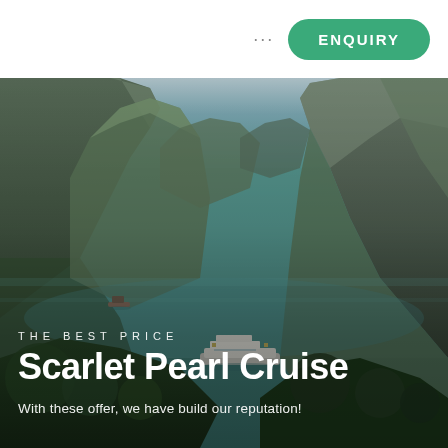... ENQUIRY
[Figure (photo): Aerial view of Ha Long Bay, Vietnam, with karst limestone islands covered in green vegetation surrounding calm teal-green water. A luxury cruise ship and a smaller traditional boat are visible on the water.]
THE BEST PRICE
Scarlet Pearl Cruise
With these offer, we have build our reputation!